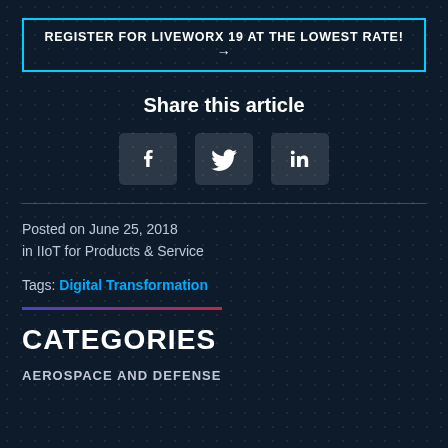REGISTER FOR LIVEWORX 19 AT THE LOWEST RATE! →
Share this article
[Figure (other): Social media share icons: Facebook, Twitter, LinkedIn]
Posted on June 25, 2018
in IIoT for Products & Service
Tags: Digital Transformation
CATEGORIES
AEROSPACE AND DEFENSE